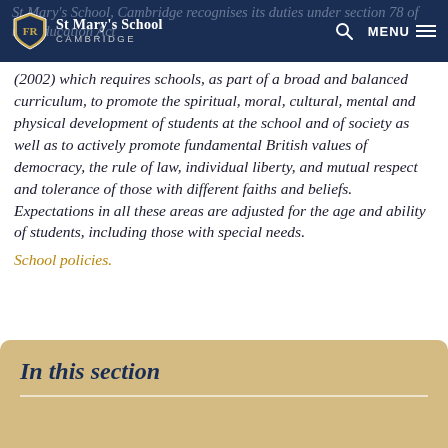St Mary's School Cambridge
St Mary's School, Cambridge recognises its duties under section 78 of the Education Act (2002) which requires schools, as part of a broad and balanced curriculum, to promote the spiritual, moral, cultural, mental and physical development of students at the school and of society as well as to actively promote fundamental British values of democracy, the rule of law, individual liberty, and mutual respect and tolerance of those with different faiths and beliefs. Expectations in all these areas are adjusted for the age and ability of students, including those with special needs. School policies.
In this section